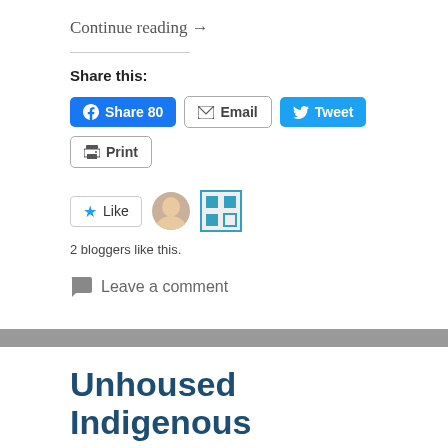Continue reading →
Share this:
[Figure (screenshot): Social sharing buttons: Facebook Share 80, Email, Tweet, Print]
[Figure (screenshot): Like button with star icon, two blogger avatars, text '2 bloggers like this.']
2 bloggers like this.
Leave a comment
Unhoused Indigenous women's camp faces eviction, asks for show